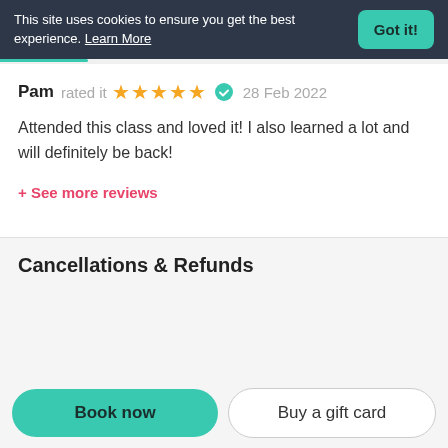This site uses cookies to ensure you get the best experience. Learn More
Got it!
Pam rated it ★★★★★ ✓ 28 Feb 2022
Attended this class and loved it! I also learned a lot and will definitely be back!
+ See more reviews
Cancellations & Refunds
Book now
Buy a gift card